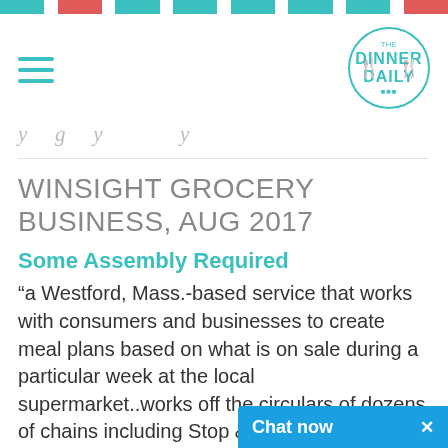Dinner Daily
WINSIGHT GROCERY BUSINESS, AUG 2017
Some Assembly Required
“a Westford, Mass.-based service that works with consumers and businesses to create meal plans based on what is on sale during a particular week at the local supermarket..works off the circulars of dozens of chains including Stop & Shop, Shaw’s, Market Basket, Hannaford, Price Chopper, Winn-Dixie, Publix